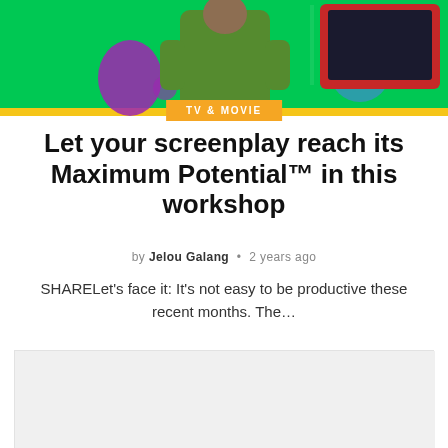[Figure (photo): Hero image showing a person in a green jacket from behind, on a bright green background with colorful decorative elements including purple and blue circles and a TV screen]
TV & MOVIE
Let your screenplay reach its Maximum Potential™ in this workshop
by Jelou Galang • 2 years ago
SHARELet's face it: It's not easy to be productive these recent months. The...
[Figure (photo): Second article image, partially visible, light gray placeholder]